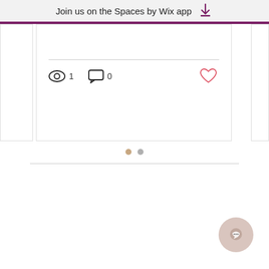Join us on the Spaces by Wix app
[Figure (screenshot): A partial blog/forum card showing a horizontal divider line, a views icon with count '1', a comments icon with count '0', and a heart/like icon in pink/red. Side panels of adjacent cards are partially visible on left and right edges.]
[Figure (other): Two pagination dots (circles) indicating carousel position]
[Figure (other): Round chat button with speech bubble icon in bottom right corner]